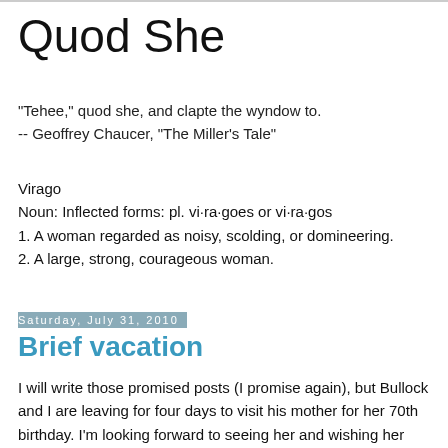Quod She
"Tehee," quod she, and clapte the wyndow to.
-- Geoffrey Chaucer, "The Miller's Tale"
Virago
Noun: Inflected forms: pl. vi·ra·goes or vi·ra·gos
1. A woman regarded as noisy, scolding, or domineering.
2. A large, strong, courageous woman.
Saturday, July 31, 2010
Brief vacation
I will write those promised posts (I promise again), but Bullock and I are leaving for four days to visit his mother for her 70th birthday. I'm looking forward to seeing her and wishing her happy birthday, but I'm not looking forward to the fact that it's supposed to be stormy weather on the drive there and possibly raining the four days we're there. Danni is